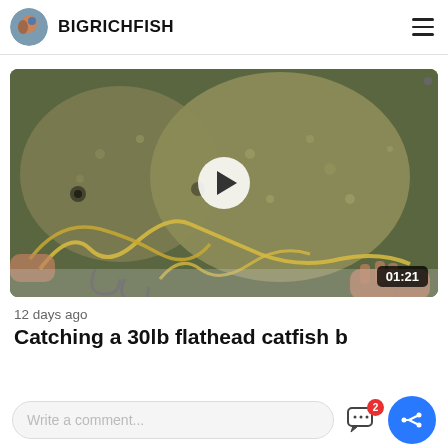BIGRICHFISH
[Figure (screenshot): Video thumbnail showing two flathead catfish held up close to the camera with fishing hooks and line visible. A white play button overlay is centered on the image. Duration badge shows 01:21 in the bottom right corner.]
12 days ago
Catching a 30lb flathead catfish b